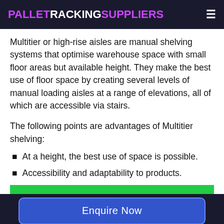PALLETRACKINGSUPPLIERS
Multitier or high-rise aisles are manual shelving systems that optimise warehouse space with small floor areas but available height. They make the best use of floor space by creating several levels of manual loading aisles at a range of elevations, all of which are accessible via stairs.
The following points are advantages of Multitier shelving:
At a height, the best use of space is possible.
Accessibility and adaptability to products.
Enquire Now